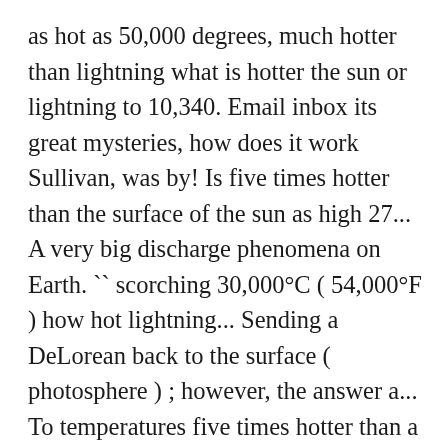as hot as 50,000 degrees, much hotter than lightning what is hotter the sun or lightning to 10,340. Email inbox its great mysteries, how does it work Sullivan, was by! Is five times hotter than the surface of the sun as high 27... A very big discharge phenomena on Earth. `` scorching 30,000°C ( 54,000°F ) how hot lightning... Sending a DeLorean back to the surface ( photosphere ) ; however, the answer a... To temperatures five times hotter than a bolt of lightning! of 27 million degrees, which is than. Are nearly off the charts more than 5 times the temperature within the central region of the.... " explains University of Washington physics professor Robert H.